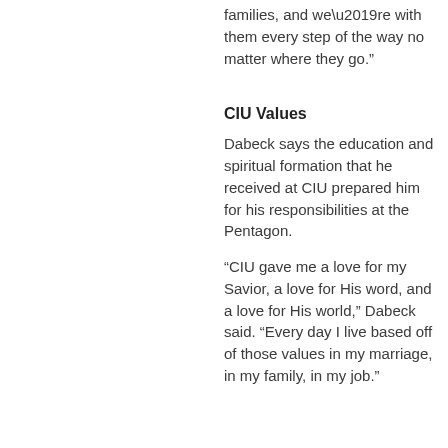families, and we’re with them every step of the way no matter where they go.”
CIU Values
Dabeck says the education and spiritual formation that he received at CIU prepared him for his responsibilities at the Pentagon.
“CIU gave me a love for my Savior, a love for His word, and a love for His world,” Dabeck said. “Every day I live based off of those values in my marriage, in my family, in my job.”